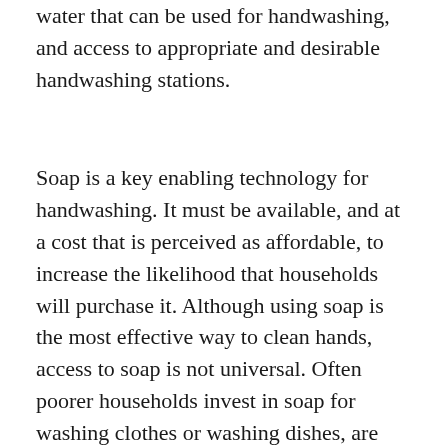water that can be used for handwashing, and access to appropriate and desirable handwashing stations.
Soap is a key enabling technology for handwashing. It must be available, and at a cost that is perceived as affordable, to increase the likelihood that households will purchase it. Although using soap is the most effective way to clean hands, access to soap is not universal. Often poorer households invest in soap for washing clothes or washing dishes, are less likely to use it for handwashing.  Handwashing with soap rather than water alone substantially increases the behavior's effectiveness and health benefits. Where soap is not available or difficult to obtain